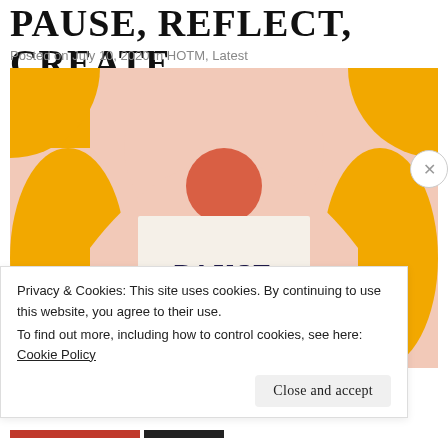PAUSE, REFLECT, CREATE
Posted on July 10, 2020 in HOTM, Latest
[Figure (illustration): Decorative illustration showing an abstract figure from the shoulders up with peach/salmon skin tones and orange/amber decorative shapes at top corners. A red-orange circle is centered above a cream-colored card that reads 'PAUSE REFLECT' in dark navy serif text.]
Privacy & Cookies: This site uses cookies. By continuing to use this website, you agree to their use.
To find out more, including how to control cookies, see here: Cookie Policy
Close and accept